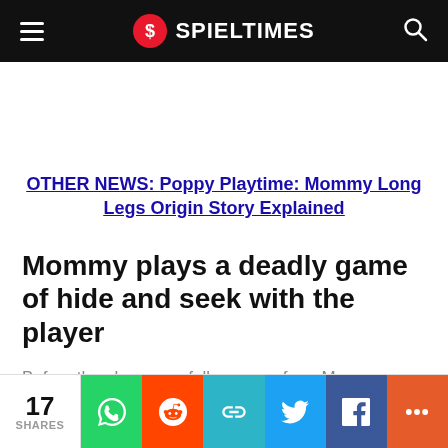SPIELTIMES
OTHER NEWS: Poppy Playtime: Mommy Long Legs Origin Story Explained
Mommy plays a deadly game of hide and seek with the player
Before the player can fully escape from Mommy
17 SHARES | WhatsApp | Reddit | Copy | Twitter | Facebook | More